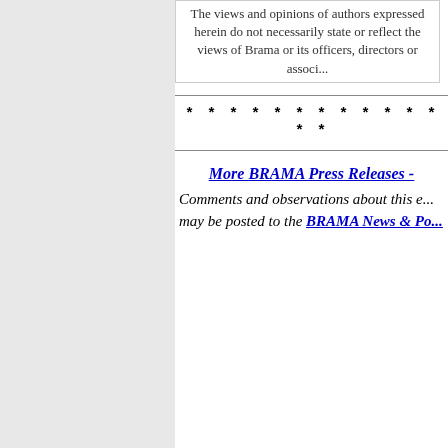The views and opinions of authors expressed herein do not necessarily state or reflect the views of Brama or its officers, directors or associates.
* * * * * * * * * * * * * *
More BRAMA Press Releases -
Comments and observations about this entry may be posted to the BRAMA News & Po...